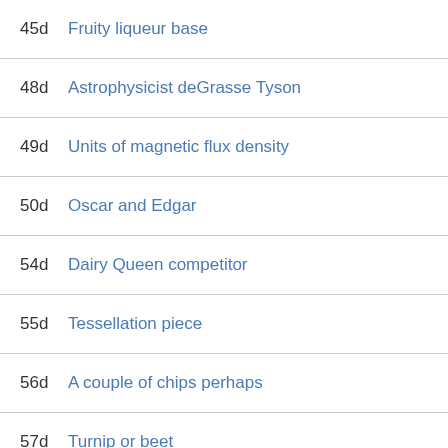45d Fruity liqueur base
48d Astrophysicist deGrasse Tyson
49d Units of magnetic flux density
50d Oscar and Edgar
54d Dairy Queen competitor
55d Tessellation piece
56d A couple of chips perhaps
57d Turnip or beet
58d Primetime
59d Ne plus ultra